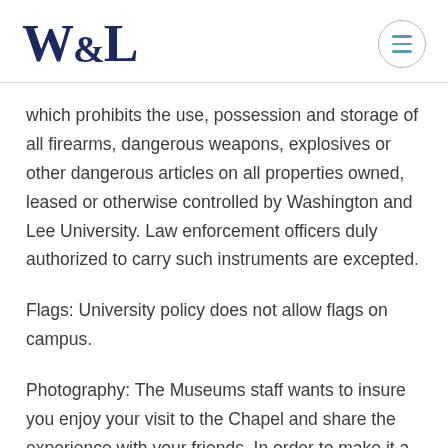W&L (Washington and Lee University logo) with navigation menu button
which prohibits the use, possession and storage of all firearms, dangerous weapons, explosives or other dangerous articles on all properties owned, leased or otherwise controlled by Washington and Lee University. Law enforcement officers duly authorized to carry such instruments are excepted.
Flags: University policy does not allow flags on campus.
Photography: The Museums staff wants to insure you enjoy your visit to the Chapel and share the experience with your friends. In order to make it a